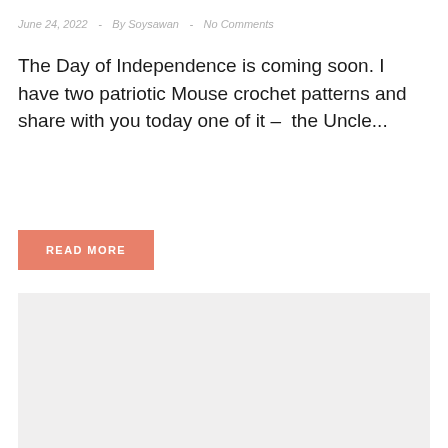June 24, 2022  -  By Soysawan  -  No Comments
The Day of Independence is coming soon. I have two patriotic Mouse crochet patterns and share with you today one of it –  the Uncle...
READ MORE
[Figure (other): Gray placeholder box]